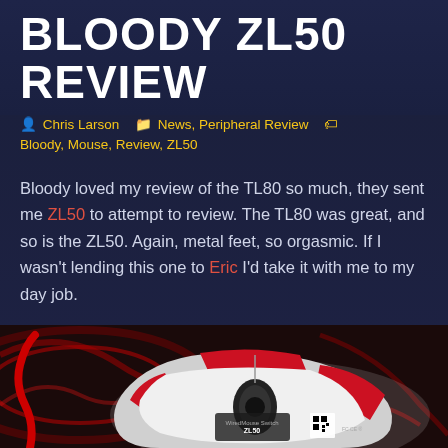BLOODY ZL50 REVIEW
Chris Larson   News, Peripheral Review   Bloody, Mouse, Review, ZL50
Bloody loved my review of the TL80 so much, they sent me ZL50 to attempt to review. The TL80 was great, and so is the ZL50. Again, metal feet, so orgasmic. If I wasn't lending this one to Eric I'd take it with me to my day job.
[Figure (photo): Photo of Bloody ZL50 gaming mouse on a red and black mousepad, viewed from above showing the top/scroll wheel, with ZL50 label and QR code visible on the bottom]